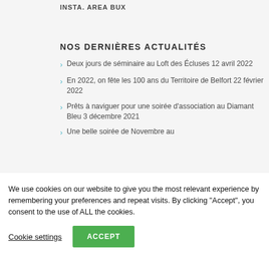INSTA. AREA BUX
NOS DERNIÈRES ACTUALITÉS
Deux jours de séminaire au Loft des Écluses 12 avril 2022
En 2022, on fête les 100 ans du Territoire de Belfort 22 février 2022
Prêts à naviguer pour une soirée d'association au Diamant Bleu 3 décembre 2021
Une belle soirée de Novembre au
We use cookies on our website to give you the most relevant experience by remembering your preferences and repeat visits. By clicking "Accept", you consent to the use of ALL the cookies.
Cookie settings  ACCEPT